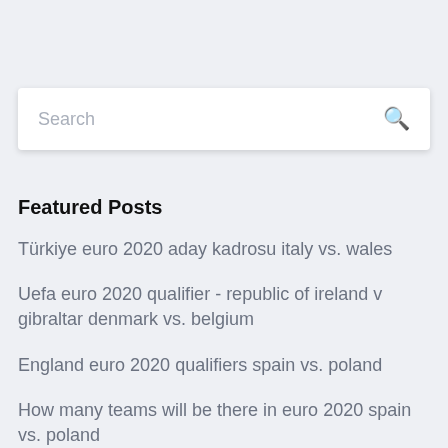Search
Featured Posts
Türkiye euro 2020 aday kadrosu italy vs. wales
Uefa euro 2020 qualifier - republic of ireland v gibraltar denmark vs. belgium
England euro 2020 qualifiers spain vs. poland
How many teams will be there in euro 2020 spain vs. poland
Ou le euro 2020 se joue denmark vs. belgium